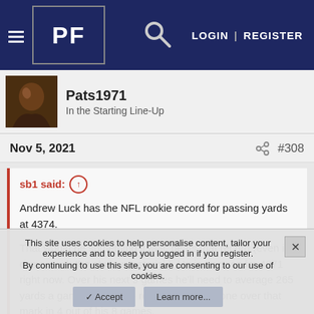PF | LOGIN | REGISTER
Pats1971
In the Starting Line-Up
Nov 5, 2021  #308
sb1 said: ↑

Andrew Luck has the NFL rookie record for passing yards at 4374.

That would be something if Mac beats that record (even if it comes with the obvious asterisk). He is on pace for 4271 right now. Over his next 9 games he'll need to average 265 yards a game to beat the record and he's gone over that mark in 4 out of his 8 games.

Might be doable.
This site uses cookies to help personalise content, tailor your experience and to keep you logged in if you register.
By continuing to use this site, you are consenting to our use of cookies.